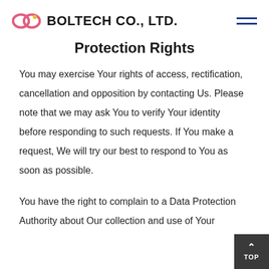BOLTECH CO., LTD.
Protection Rights
You may exercise Your rights of access, rectification, cancellation and opposition by contacting Us. Please note that we may ask You to verify Your identity before responding to such requests. If You make a request, We will try our best to respond to You as soon as possible.
You have the right to complain to a Data Protection Authority about Our collection and use of Your